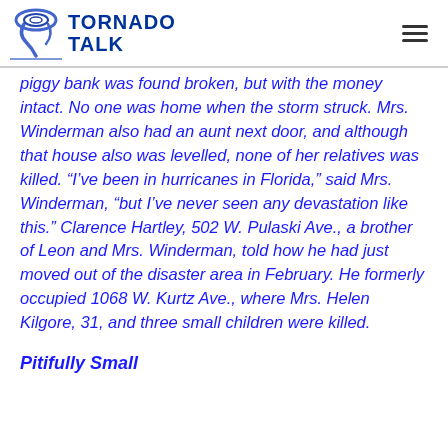TORNADO TALK
piggy bank was found broken, but with the money intact. No one was home when the storm struck. Mrs. Winderman also had an aunt next door, and although that house also was levelled, none of her relatives was killed. “I’ve been in hurricanes in Florida,” said Mrs. Winderman, “but I’ve never seen any devastation like this.” Clarence Hartley, 502 W. Pulaski Ave., a brother of Leon and Mrs. Winderman, told how he had just moved out of the disaster area in February. He formerly occupied 1068 W. Kurtz Ave., where Mrs. Helen Kilgore, 31, and three small children were killed.
Pitifully Small